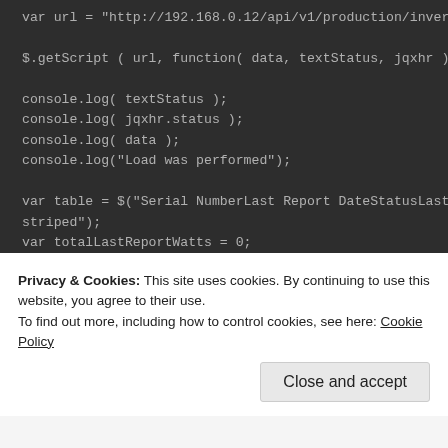var url = "http://192.168.0.12/api/v1/production/inverters";

$.getScript ( url, function( data, textStatus, jqxhr ) {

console.log( textStatus );
console.log( jqxhr.status );
console.log( data );
console.log("Load was performed");

var table = $("Serial NumberLast Report DateStatusLastMax").addC
striped");
var totalLastReportWatts = 0;
var totalMaxReportWatts = 0;

$.each( data, function(index, item) {
console.log( index );
totalLastReportWatts += item.lastReportWatts;
totalMaxReportWatts += item.maxReportWatts;
Privacy & Cookies: This site uses cookies. By continuing to use this website, you agree to their use.
To find out more, including how to control cookies, see here: Cookie Policy
Close and accept